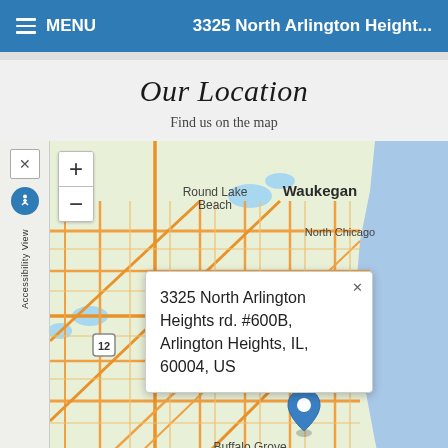≡ MENU   3325 North Arlington Height...
Our Location
Find us on the map
[Figure (map): Street map showing northern Chicago suburbs including Waukegan, North Chicago, Round Lake Beach, Highland Park, Buffalo Grove, Palatine, Northbrook. A blue location pin marks the address 3325 North Arlington Heights rd. #600B, Arlington Heights, IL, 60004, US. Map includes zoom controls (+/-) and an accessibility sidebar.]
3325 North Arlington Heights rd. #600B, Arlington Heights, IL, 60004, US